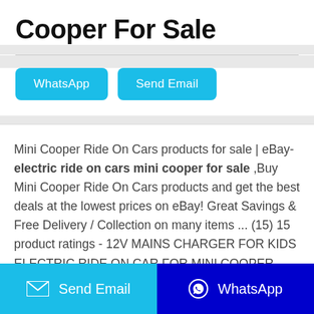Cooper For Sale
WhatsApp   Send Email
Mini Cooper Ride On Cars products for sale | eBay- electric ride on cars mini cooper for sale ,Buy Mini Cooper Ride On Cars products and get the best deals at the lowest prices on eBay! Great Savings & Free Delivery / Collection on many items ... (15) 15 product ratings - 12V MAINS CHARGER FOR KIDS ELECTRIC RIDE ON CAR FOR MINI COOPER BEACHCOMBER. £14.99. Free postage. 234 sold. Mini Cooper Sit and Ride On Car. £6.00. 0 bids. or
Send Email   WhatsApp